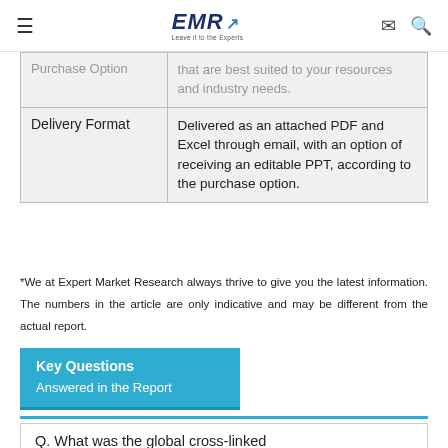EMR — Expert Market Research header with hamburger menu, logo, mail icon, search icon
| Purchase Option |  |
| --- | --- |
| Purchase Option | that are best suited to your resources and industry needs. |
| Delivery Format | Delivered as an attached PDF and Excel through email, with an option of receiving an editable PPT, according to the purchase option. |
*We at Expert Market Research always thrive to give you the latest information. The numbers in the article are only indicative and may be different from the actual report.
Key Questions Answered in the Report
Q. What was the global cross-linked